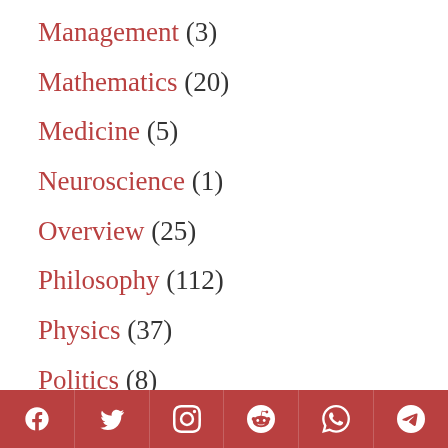Management (3)
Mathematics (20)
Medicine (5)
Neuroscience (1)
Overview (25)
Philosophy (112)
Physics (37)
Politics (8)
Psychology (31)
Social share icons: Facebook, Twitter, Instagram, Reddit, WhatsApp, Telegram